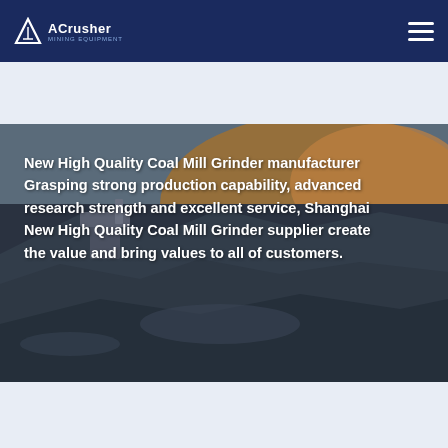ACrusher Mining Equipment
[Figure (photo): Aerial view of a coal mining operation with heavy machinery on dark rocky terrain with orange rock face in background]
New High Quality Coal Mill Grinder manufacturer Grasping strong production capability, advanced research strength and excellent service, Shanghai New High Quality Coal Mill Grinder supplier create the value and bring values to all of customers.
Get New High Quality Coal Mill
Online Chat | Sales Hotline